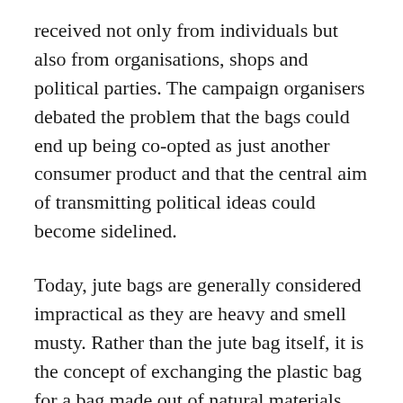received not only from individuals but also from organisations, shops and political parties. The campaign organisers debated the problem that the bags could end up being co-opted as just another consumer product and that the central aim of transmitting political ideas could become sidelined.
Today, jute bags are generally considered impractical as they are heavy and smell musty. Rather than the jute bag itself, it is the concept of exchanging the plastic bag for a bag made out of natural materials that has remained relevant. Discourse about the plastic bag as a symbol of environmental pollution has intensified in recent years, and many retailers (partly as a result of government policy) have reduced or banned their use. Channer and Svensson (2000) highlight the different...